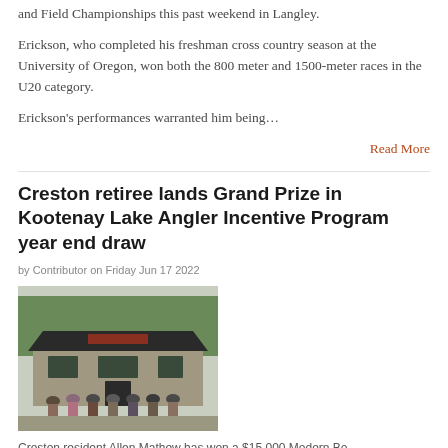and Field Championships this past weekend in Langley.
Erickson, who completed his freshman cross country season at the University of Oregon, won both the 800 meter and 1500-meter races in the U20 category.
Erickson's performances warranted him being…
Read More
Creston retiree lands Grand Prize in Kootenay Lake Angler Incentive Program year end draw
by Contributor on Friday Jun 17 2022
[Figure (photo): Group of people standing in front of a building with a dark roof, outdoors with trees in background]
Creston resident Allen Mathew has won a $15,000 Modern Bo...